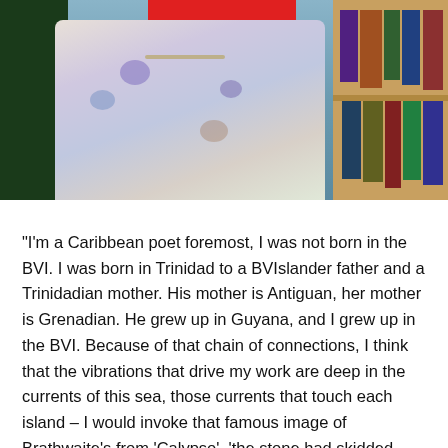[Figure (photo): Photo of a woman in a floral blouse seated in front of a bookshelf, with a man in dark clothing partially visible on the left. A red redaction bar covers the woman's face at the top.]
“I’m a Caribbean poet foremost, I was not born in the BVI. I was born in Trinidad to a BVIslander father and a Trinidadian mother. His mother is Antiguan, her mother is Grenadian. He grew up in Guyana, and I grew up in the BVI. Because of that chain of connections, I think that the vibrations that drive my work are deep in the currents of this sea, those currents that touch each island – I would invoke that famous image of Brathwaite’s from ‘Calypso’, ‘the stone had skidded arc’d and bloomed into islands’.” –
Richard Georges in Pree. 2018.
“As far as my poetic horizons go, I try to let the tides tug